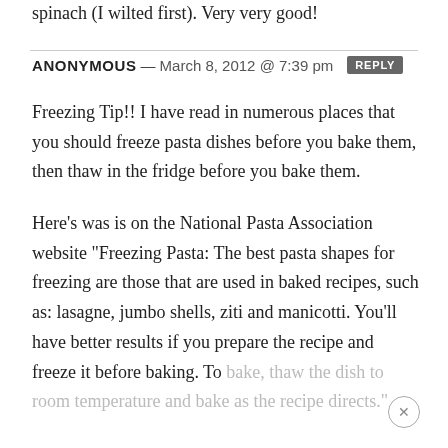spinach (I wilted first). Very very good!
ANONYMOUS — March 8, 2012 @ 7:39 pm [REPLY]
Freezing Tip!! I have read in numerous places that you should freeze pasta dishes before you bake them, then thaw in the fridge before you bake them.

Here's was is on the National Pasta Association website "Freezing Pasta: The best pasta shapes for freezing are those that are used in baked recipes, such as: lasagne, jumbo shells, ziti and manicotti. You'll have better results if you prepare the recipe and freeze it before baking. To bake, thaw the dish to room temperature and bake as the recipe directs."